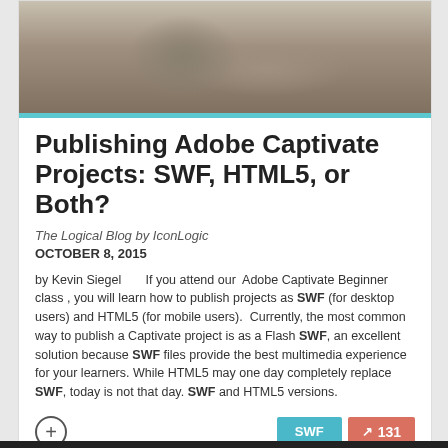[Figure (photo): Hero image showing hands/braided hair near a tablet or document, muted warm tones]
Publishing Adobe Captivate Projects: SWF, HTML5, or Both?
The Logical Blog by IconLogic
OCTOBER 8, 2015
by Kevin Siegel      If you attend our  Adobe Captivate Beginner class , you will learn how to publish projects as SWF (for desktop users) and HTML5 (for mobile users).  Currently, the most common way to publish a Captivate project is as a Flash SWF, an excellent solution because SWF files provide the best multimedia experience for your learners. While HTML5 may one day completely replace SWF, today is not that day. SWF and HTML5 versions.